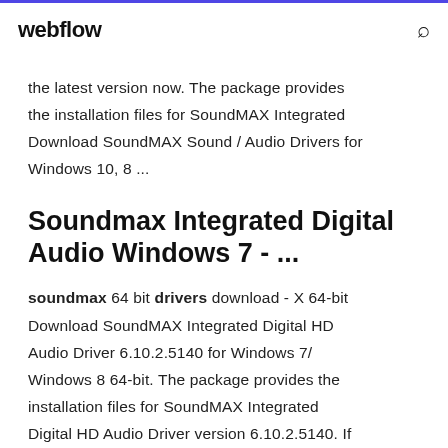webflow
the latest version now. The package provides the installation files for SoundMAX Integrated Download SoundMAX Sound / Audio Drivers for Windows 10, 8 ...
Soundmax Integrated Digital Audio Windows 7 - ...
soundmax 64 bit drivers download - X 64-bit Download SoundMAX Integrated Digital HD Audio Driver 6.10.2.5140 for Windows 7/ Windows 8 64-bit. The package provides the installation files for SoundMAX Integrated Digital HD Audio Driver version 6.10.2.5140. If